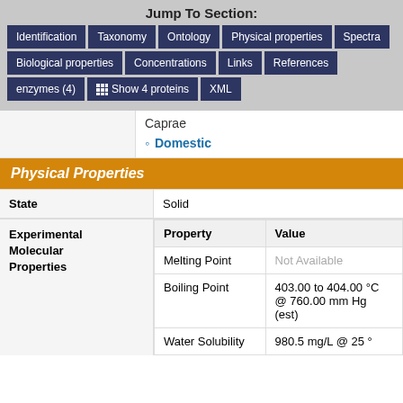Jump To Section:
Identification
Taxonomy
Ontology
Physical properties
Spectra
Biological properties
Concentrations
Links
References
enzymes (4)
Show 4 proteins
XML
Caprae
Domestic
Physical Properties
|  |  |
| --- | --- |
| State | Solid |
| Experimental Molecular Properties | Property | Value |
|  | Melting Point | Not Available |
|  | Boiling Point | 403.00 to 404.00 °C @ 760.00 mm Hg (est) |
|  | Water Solubility | 980.5 mg/L @ 25 ° |